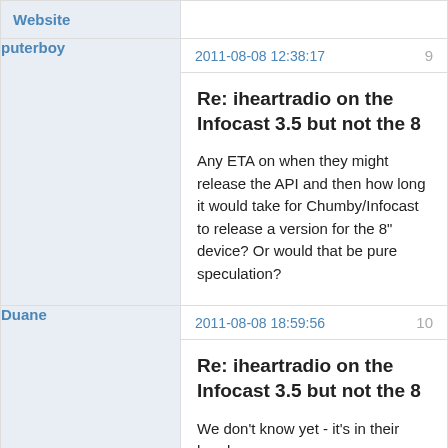Website
puterboy
2011-08-08 12:38:17
9
Re: iheartradio on the Infocast 3.5 but not the 8
Any ETA on when they might release the API and then how long it would take for Chumby/Infocast to release a version for the 8" device? Or would that be pure speculation?
Duane
2011-08-08 18:59:56
10
Re: iheartradio on the Infocast 3.5 but not the 8
We don't know yet - it's in their hands.